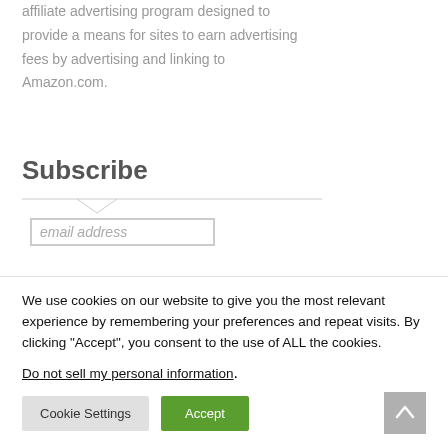affiliate advertising program designed to provide a means for sites to earn advertising fees by advertising and linking to Amazon.com.
Subscribe
email address
We use cookies on our website to give you the most relevant experience by remembering your preferences and repeat visits. By clicking “Accept”, you consent to the use of ALL the cookies.
Do not sell my personal information.